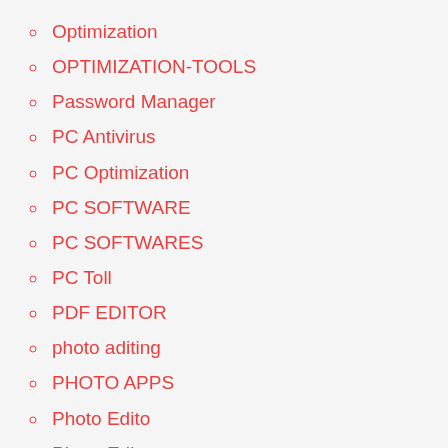Optimization
OPTIMIZATION-TOOLS
Password Manager
PC Antivirus
PC Optimization
PC SOFTWARE
PC SOFTWARES
PC Toll
PDF EDITOR
photo aditing
PHOTO APPS
Photo Edito
Photo Editor
Photography
PROGRAM